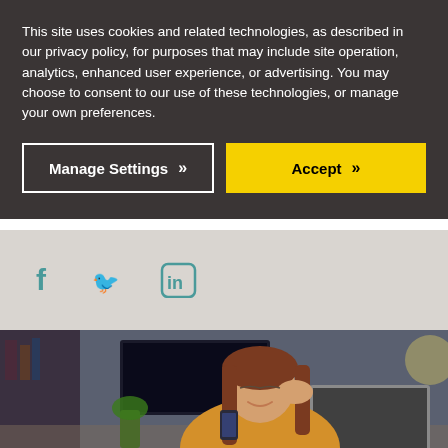This site uses cookies and related technologies, as described in our privacy policy, for purposes that may include site operation, analytics, enhanced user experience, or advertising. You may choose to consent to our use of these technologies, or manage your own preferences.
[Figure (infographic): Two buttons: 'Manage Settings' with double chevron on dark background with white border, and 'Accept' with double chevron on yellow background]
[Figure (infographic): Social media icons: Facebook (f), Twitter bird, LinkedIn (in) in teal/cyan color on light gray background bar]
[Figure (photo): Woman in yellow/mustard sweater smiling while looking at smartphone, sitting at desk with laptop, home office background with bookshelf and TV]